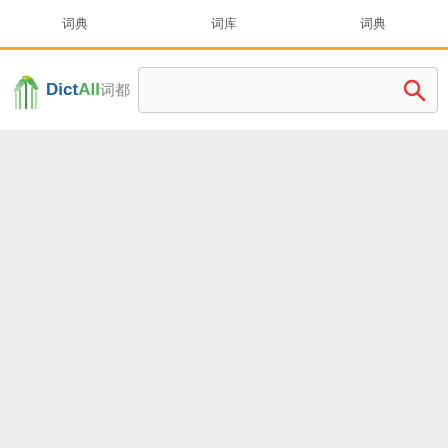词典  词库  词典
[Figure (logo): DictAll 词都 logo with green plant/bamboo graphic and blue/green text]
Search box with magnifying glass icon